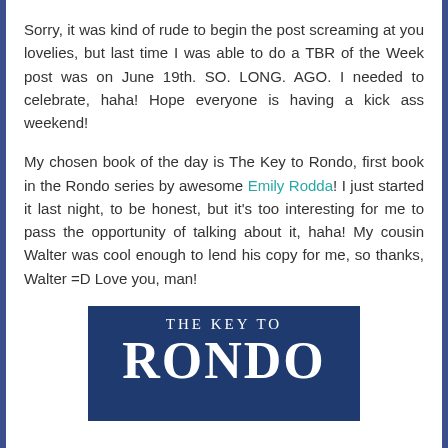Sorry, it was kind of rude to begin the post screaming at you lovelies, but last time I was able to do a TBR of the Week post was on June 19th. SO. LONG. AGO. I needed to celebrate, haha! Hope everyone is having a kick ass weekend!
My chosen book of the day is The Key to Rondo, first book in the Rondo series by awesome Emily Rodda! I just started it last night, to be honest, but it's too interesting for me to pass the opportunity of talking about it, haha! My cousin Walter was cool enough to lend his copy for me, so thanks, Walter =D Love you, man!
[Figure (illustration): Book cover of 'The Key to Rondo' showing white decorative text on a dark navy blue background. The subtitle 'THE KEY TO' appears in small spaced caps at the top, and 'RONDO' appears in very large bold serif letters below.]